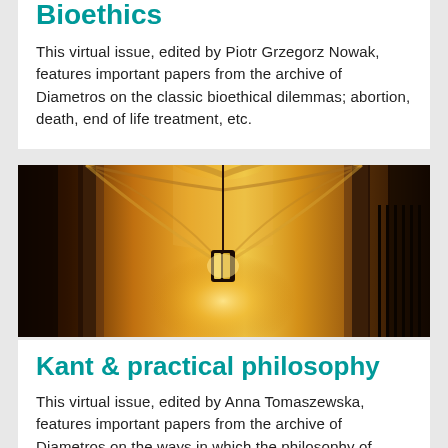Bioethics
This virtual issue, edited by Piotr Grzegorz Nowak, features important papers from the archive of Diametros on the classic bioethical dilemmas; abortion, death, end of life treatment, etc.
[Figure (photo): Interior of a Gothic cathedral hallway with arched vaulted ceilings illuminated by a warm hanging lantern, golden-orange warm light on stone arches.]
Kant & practical philosophy
This virtual issue, edited by Anna Tomaszewska, features important papers from the archive of Diametros on the ways in which the philosophy of